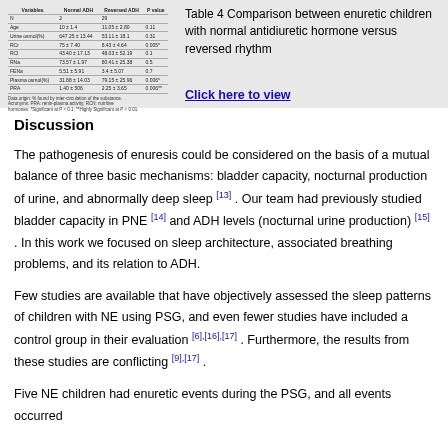[Figure (table-as-image): Thumbnail of Table 4 comparing enuretic children with normal antidiuretic hormone versus reversed rhythm, showing columns for Variable, Normal ADH, Reversed ADH, P-value with rows for N, Age, Urine osmolality, RCr, RCl, RNa, FENa, Plasma osmolality, PRA]
Table 4 Comparison between enuretic children with normal antidiuretic hormone versus reversed rhythm
Discussion
The pathogenesis of enuresis could be considered on the basis of a mutual balance of three basic mechanisms: bladder capacity, nocturnal production of urine, and abnormally deep sleep [13] . Our team had previously studied bladder capacity in PNE [14] and ADH levels (nocturnal urine production) [15] . In this work we focused on sleep architecture, associated breathing problems, and its relation to ADH.
Few studies are available that have objectively assessed the sleep patterns of children with NE using PSG, and even fewer studies have included a control group in their evaluation [6],[16],[17] . Furthermore, the results from these studies are conflicting [9],[17] .
Five NE children had enuretic events during the PSG, and all events occurred